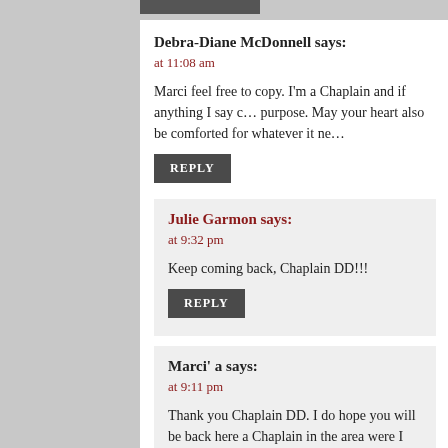Debra-Diane McDonnell says:
at 11:08 am
Marci feel free to copy. I'm a Chaplain and if anything I say can be of purpose. May your heart also be comforted for whatever it ne…
REPLY
Julie Garmon says:
at 9:32 pm
Keep coming back, Chaplain DD!!!
REPLY
Marci' a says:
at 9:11 pm
Thank you Chaplain DD. I do hope you will be back here a Chaplain in the area were I live, especially when there i…